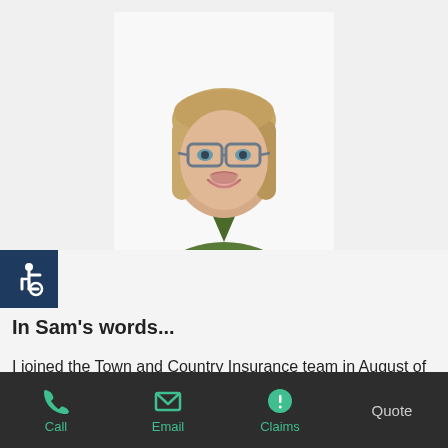[Figure (photo): Professional headshot of a woman with blonde hair wearing glasses and a dark green blouse, smiling, against a white background]
[Figure (illustration): Wheelchair accessibility icon in white on a dark navy/blue square background]
In Sam's words...
I joined the Town and Country Insurance team in August of 2021 to specialize in the life and health...
Call  Email  Claims  Quote